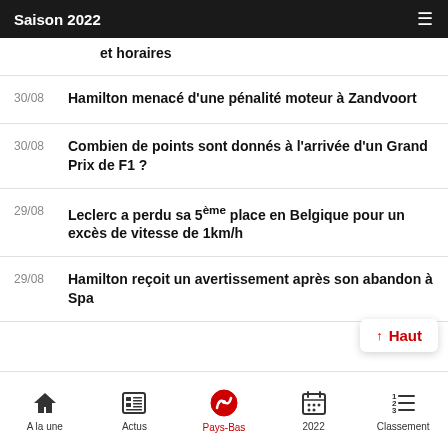Saison 2022
et horaires
30/08 — Hamilton menacé d'une pénalité moteur à Zandvoort
30/08 — Combien de points sont donnés à l'arrivée d'un Grand Prix de F1 ?
29/08 — Leclerc a perdu sa 5ème place en Belgique pour un excès de vitesse de 1km/h
29/08 — Hamilton reçoit un avertissement après son abandon à Spa
↑ Haut
A la une | Actus | Pays-Bas | 2022 | Classement